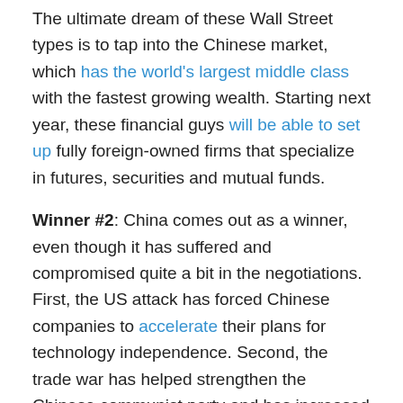The ultimate dream of these Wall Street types is to tap into the Chinese market, which has the world's largest middle class with the fastest growing wealth. Starting next year, these financial guys will be able to set up fully foreign-owned firms that specialize in futures, securities and mutual funds.
Winner #2: China comes out as a winner, even though it has suffered and compromised quite a bit in the negotiations. First, the US attack has forced Chinese companies to accelerate their plans for technology independence. Second, the trade war has helped strengthen the Chinese communist party and has increased the sense of nationalism among the public. China has now proven to the world and itself that it can stand up to the US — it didn't fold in the trade war;